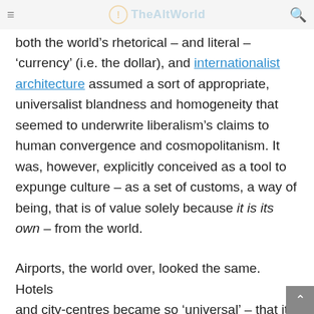TheAltWorld
both the world's rhetorical – and literal – 'currency' (i.e. the dollar), and internationalist architecture assumed a sort of appropriate, universalist blandness and homogeneity that seemed to underwrite liberalism's claims to human convergence and cosmopolitanism. It was, however, explicitly conceived as a tool to expunge culture – as a set of customs, a way of being, that is of value solely because it is its own – from the world.
Airports, the world over, looked the same. Hotels and city-centres became so 'universal' – that it was hard to recall in which city one was situated. Everywhere accepted the dollar. These were the